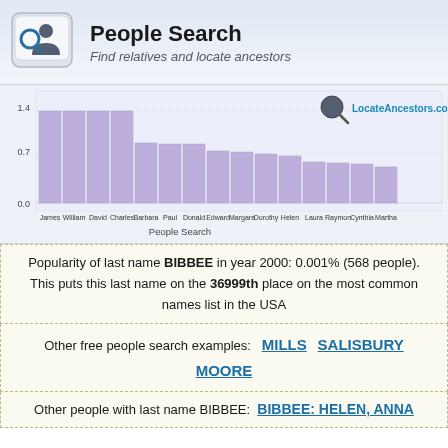People Search – Find relatives and locate ancestors
[Figure (bar-chart): People Search]
Popularity of last name BIBBEE in year 2000: 0.001% (568 people). This puts this last name on the 36999th place on the most common names list in the USA
Other free people search examples: MILLS  SALISBURY  MOORE
Other people with last name BIBBEE:  BIBBEE: HELEN, ANNA